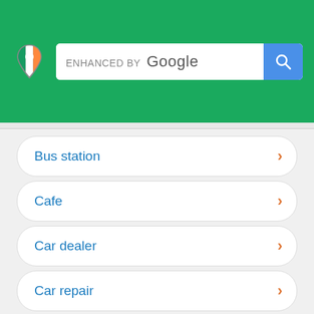[Figure (screenshot): Green header with Irish flag map pin logo, ENHANCED BY Google search bar, and blue search button]
Bus station
Cafe
Car dealer
Car repair
Car wash
Cemetery